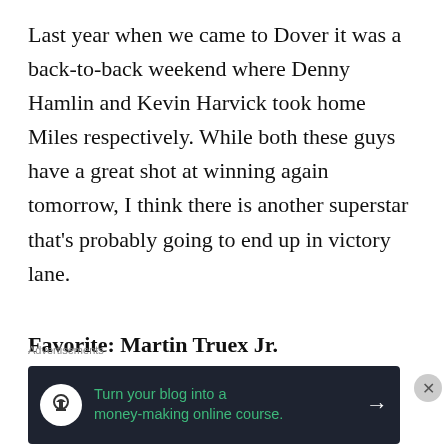Last year when we came to Dover it was a back-to-back weekend where Denny Hamlin and Kevin Harvick took home Miles respectively. While both these guys have a great shot at winning again tomorrow, I think there is another superstar that's probably going to end up in victory lane.
Favorite: Martin Truex Jr.
After Truex mopped the floor with the competition last week and I saw we were
[Figure (other): Advertisement banner with dark background reading 'Turn your blog into a money-making online course.' with a tree/teaching icon and arrow]